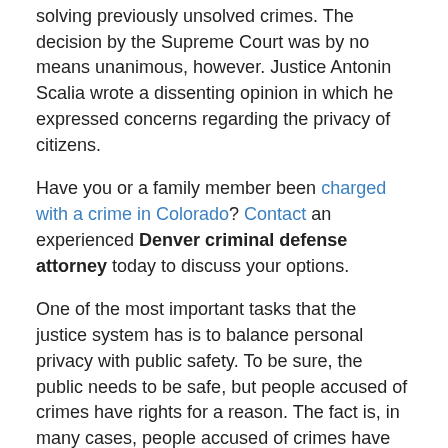solving previously unsolved crimes. The decision by the Supreme Court was by no means unanimous, however. Justice Antonin Scalia wrote a dissenting opinion in which he expressed concerns regarding the privacy of citizens.
Have you or a family member been charged with a crime in Colorado? Contact an experienced Denver criminal defense attorney today to discuss your options.
One of the most important tasks that the justice system has is to balance personal privacy with public safety. To be sure, the public needs to be safe, but people accused of crimes have rights for a reason. The fact is, in many cases, people accused of crimes have their rights violated, partly because they didn't know their rights, and didn't know how to protect them. While there will always be disagreement on where the right to privacy lies, new technology keeps the need for the discussion alive. Denver defense lawyers know that it is always important to understand that one of the most fundamental rights that we have as Americans, one of the rights that help protect our freedom, is the rights that we have when we are accused of a crime.
[Figure (photo): Headshot photo of a person, cropped, showing face and shoulders]
Speak with an experienced Denver criminal defense lawyer immediately to